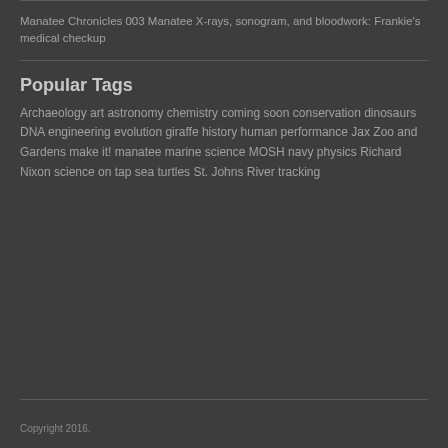Manatee Chronicles 003 Manatee X-rays, sonogram, and bloodwork: Frankie's medical checkup
Popular Tags
Archaeology art astronomy chemistry coming soon conservation dinosaurs DNA engineering evolution giraffe history human performance Jax Zoo and Gardens make it! manatee marine science MOSH navy physics Richard Nixon science on tap sea turtles St. Johns River tracking
Copyright 2016.